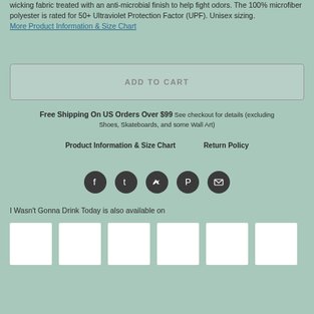wicking fabric treated with an anti-microbial finish to help fight odors. The 100% microfiber polyester is rated for 50+ Ultraviolet Protection Factor (UPF). Unisex sizing. More Product Information & Size Chart
ADD TO CART
Free Shipping On US Orders Over $99 See checkout for details (excluding Shoes, Skateboards, and some Wall Art)
Product Information & Size Chart    Return Policy
[Figure (infographic): Social media share icons: Facebook, Tumblr, Twitter, Pinterest, Email — dark circular buttons]
I Wasn't Gonna Drink Today is also available on
[Figure (infographic): Six white product thumbnail image boxes in a row]